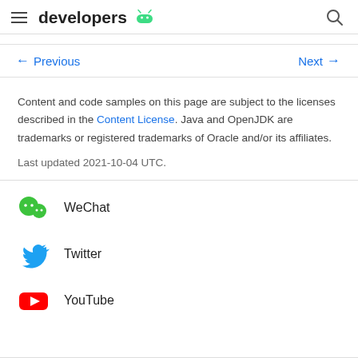developers
← Previous   Next →
Content and code samples on this page are subject to the licenses described in the Content License. Java and OpenJDK are trademarks or registered trademarks of Oracle and/or its affiliates.
Last updated 2021-10-04 UTC.
WeChat
Twitter
YouTube